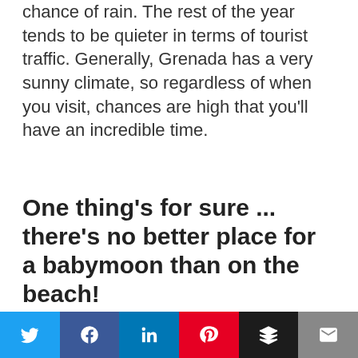chance of rain. The rest of the year tends to be quieter in terms of tourist traffic. Generally, Grenada has a very sunny climate, so regardless of when you visit, chances are high that you'll have an incredible time.
One thing's for sure ... there's no better place for a babymoon than on the beach!
It's clear that Grenada and The Bahamas
[Figure (other): Social media sharing bar with Twitter, Facebook, LinkedIn, Pinterest, Buffer, and Email icons]